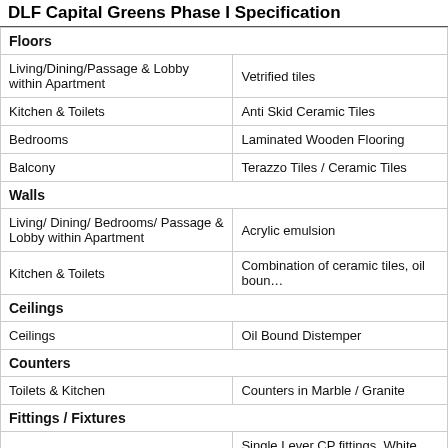DLF Capital Greens Phase I Specification
|  |  |
| --- | --- |
| Floors |  |
| Living/Dining/Passage & Lobby within Apartment | Vetrified tiles |
| Kitchen & Toilets | Anti Skid Ceramic Tiles |
| Bedrooms | Laminated Wooden Flooring |
| Balcony | Terazzo Tiles / Ceramic Tiles |
| Walls |  |
| Living/ Dining/ Bedrooms/ Passage & Lobby within Apartment | Acrylic emulsion |
| Kitchen & Toilets | Combination of ceramic tiles, oil boun… |
| Ceilings |  |
| Ceilings | Oil Bound Distemper |
| Counters |  |
| Toilets & Kitchen | Counters in Marble / Granite |
| Fittings / Fixtures |  |
| Toilets & Kitchen | Single Lever CP fittings, White China… |